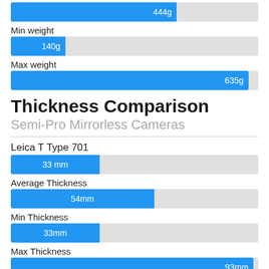[Figure (bar-chart): Average weight]
Min weight
[Figure (bar-chart): Min weight]
Max weight
[Figure (bar-chart): Max weight]
Thickness Comparison
Semi-Pro Mirrorless Cameras
Leica T Type 701
[Figure (bar-chart): Leica T Type 701 thickness]
Average Thickness
[Figure (bar-chart): Average Thickness]
Min Thickness
[Figure (bar-chart): Min Thickness]
Max Thickness
[Figure (bar-chart): Max Thickness]
Here is the front and top view image of Leica T Typ 701